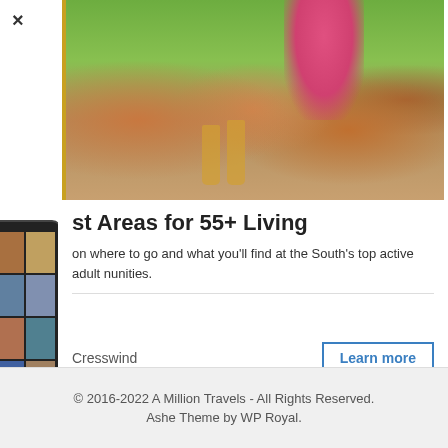[Figure (photo): Close-up photo of four adults laughing and toasting with beer glasses at an outdoor table with food, flowers, and greenery in the background.]
st Areas for 55+ Living
on where to go and what you'll find at the South's top active adult nunities.
Cresswind
Learn more
ezoic
report this ad
© 2016-2022 A Million Travels - All Rights Reserved.
Ashe Theme by WP Royal.